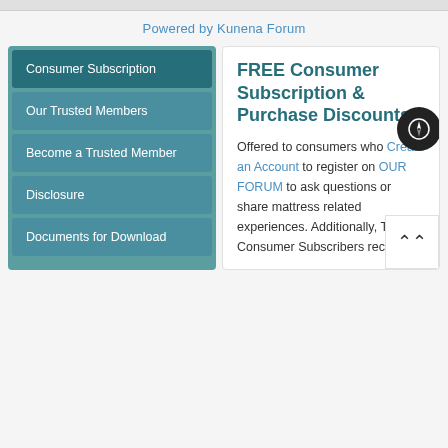Powered by Kunena Forum
Consumer Subscription
Our Trusted Members
Become a Trusted Member
Disclosure
Documents for Download
FREE Consumer Subscription & Purchase Discounts
Offered to consumers who Create an Account to register on OUR FORUM to ask questions or share mattress related experiences. Additionally, TMU Consumer Subscribers receive